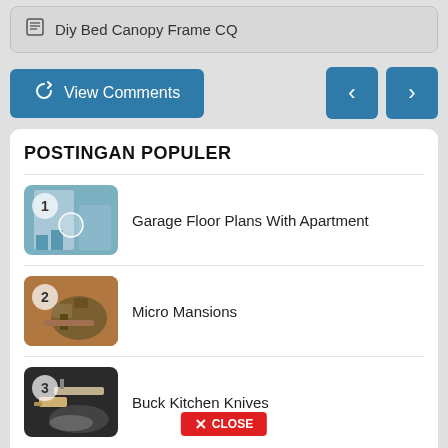Diy Bed Canopy Frame CQ
View Comments
1. Garage Floor Plans With Apartment
2. Micro Mansions
3. Buck Kitchen Knives
X CLOSE